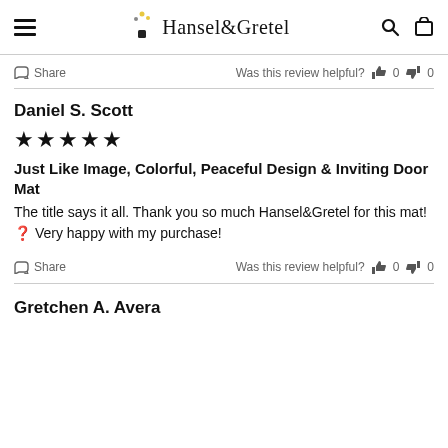Hansel&Gretel
Share   Was this review helpful?  👍 0  👎 0
Daniel S. Scott
★★★★★
Just Like Image, Colorful, Peaceful Design & Inviting Door Mat
The title says it all. Thank you so much Hansel&Gretel for this mat! 🧡 Very happy with my purchase!
Share   Was this review helpful?  👍 0  👎 0
Gretchen A. Avera